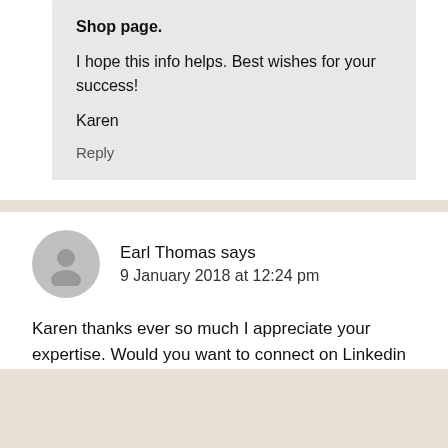Shop page.
I hope this info helps. Best wishes for your success!
Karen
Reply
Earl Thomas says
9 January 2018 at 12:24 pm
Karen thanks ever so much I appreciate your expertise. Would you want to connect on Linkedin